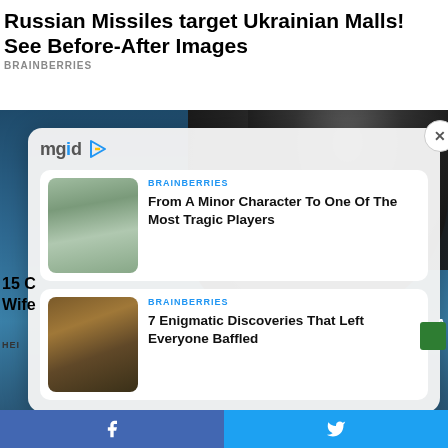Russian Missiles target Ukrainian Malls! See Before-After Images
BRAINBERRIES
[Figure (screenshot): MGID content recommendation widget overlay on a background image of a person in water, showing two article cards: 1) 'From A Minor Character To One Of The Most Tragic Players' (BRAINBERRIES) with a thumbnail of a person in green outfit, 2) '7 Enigmatic Discoveries That Left Everyone Baffled' (BRAINBERRIES) with a thumbnail of dark earthy material. A close button (X) appears top right of the card. Bottom social share bar with Facebook and Twitter buttons.]